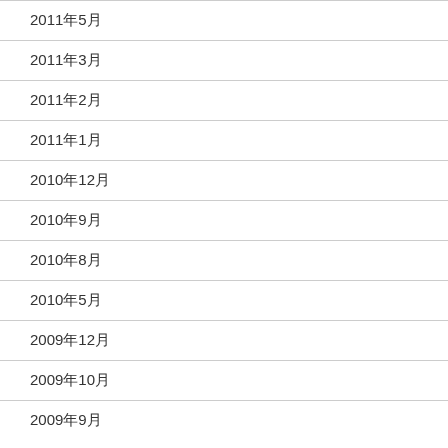2011年5月
2011年3月
2011年2月
2011年1月
2010年12月
2010年9月
2010年8月
2010年5月
2009年12月
2009年10月
2009年9月